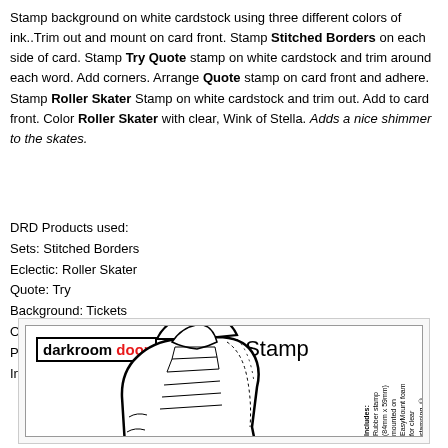Stamp background on white cardstock using three different colors of ink..Trim out and mount on card front. Stamp Stitched Borders on each side of card. Stamp Try Quote stamp on white cardstock and trim around each word. Add corners.  Arrange Quote stamp on card front and adhere.  Stamp Roller Skater Stamp on white cardstock and trim out. Add to card front.  Color Roller Skater with clear, Wink of Stella. Adds a nice shimmer to the skates.
DRD Products used:
Sets: Stitched Borders
Eclectic: Roller Skater
Quote: Try
Background: Tickets
Other:
Paper: Carta Bella
Ink: Ranger Archival Ink, Wink of Stella
[Figure (illustration): Darkroom Door Eclectic Stamp product packaging showing roller skate illustration with brand logo and product text]